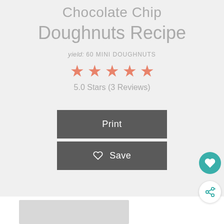Chocolate Chip Doughnuts Recipe
yield: 60 MINI DOUGHNUTS
[Figure (other): 5 salmon/coral filled stars rating]
5.0 Stars (3 Reviews)
Print
Save